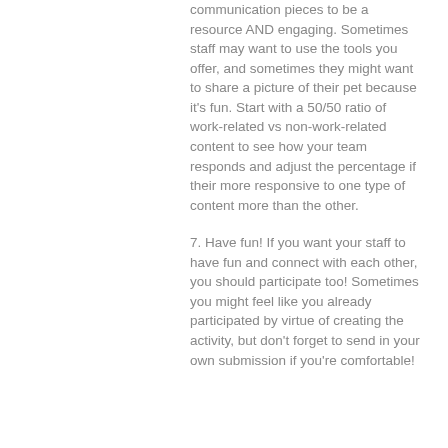communication pieces to be a resource AND engaging. Sometimes staff may want to use the tools you offer, and sometimes they might want to share a picture of their pet because it's fun. Start with a 50/50 ratio of work-related vs non-work-related content to see how your team responds and adjust the percentage if their more responsive to one type of content more than the other.
7. Have fun! If you want your staff to have fun and connect with each other, you should participate too! Sometimes you might feel like you already participated by virtue of creating the activity, but don't forget to send in your own submission if you're comfortable!